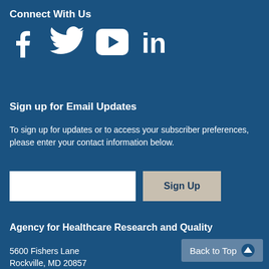Connect With Us
[Figure (illustration): Social media icons: Facebook, Twitter, YouTube, LinkedIn in white on dark blue background]
Sign up for Email Updates
To sign up for updates or to access your subscriber preferences, please enter your contact information below.
[Figure (other): Email input field and Sign Up button]
Agency for Healthcare Research and Quality
5600 Fishers Lane
Rockville, MD 20857
Back to Top